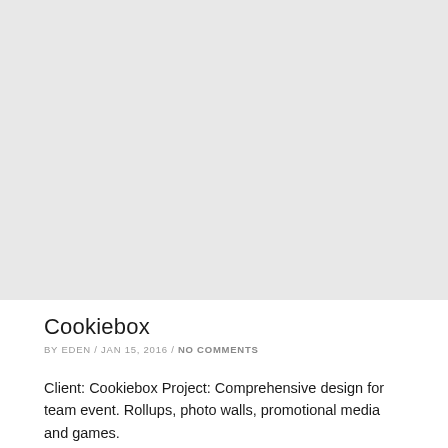[Figure (photo): Large light gray placeholder image area occupying the upper portion of the page]
Cookiebox
BY EDEN / JAN 15, 2016 / NO COMMENTS
Client: Cookiebox Project: Comprehensive design for team event. Rollups, photo walls, promotional media and games.